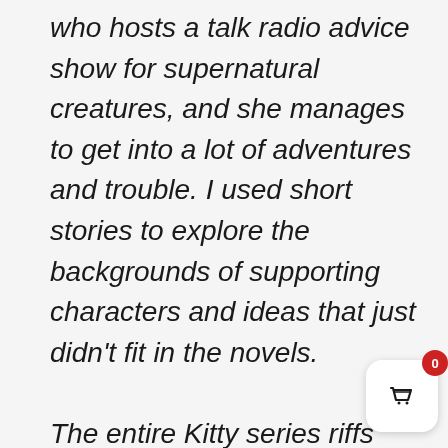who hosts a talk radio advice show for supernatural creatures, and she manages to get into a lot of adventures and trouble. I used short stories to explore the backgrounds of supporting characters and ideas that just didn't fit in the novels.

The entire Kitty series riffs on tropes to one degree or